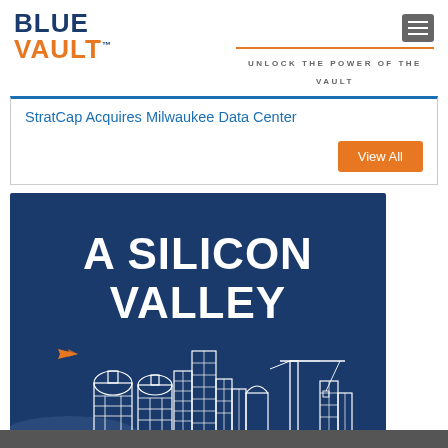BLUE VAULT™ — UNLOCK THE POWER OF THE VAULT
StratCap Acquires Milwaukee Data Center
View All
[Figure (illustration): Dark navy blue banner with large white bold text reading 'A SILICON VALLEY' and a white line-art city skyline at the bottom featuring domed buildings, skyscrapers, a construction crane, and a small orange airplane silhouette]